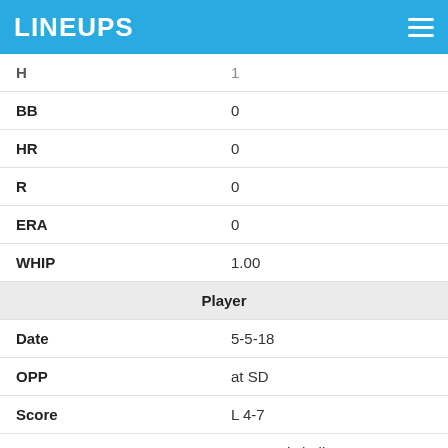LINEUPS
| H | 1 |
| BB | 0 |
| HR | 0 |
| R | 0 |
| ERA | 0 |
| WHIP | 1.00 |
| Player |  |
| Date | 5-5-18 |
| OPP | at SD |
| Score | L 4-7 |
| OPPOSING SP | Bryan Mitchell |
| Fantasy Points |  |
| FPTS | -1.8 |